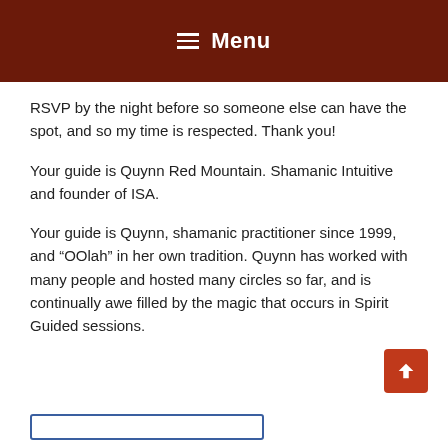Menu
RSVP by the night before so someone else can have the spot, and so my time is respected. Thank you!
Your guide is Quynn Red Mountain. Shamanic Intuitive and founder of ISA.
Your guide is Quynn, shamanic practitioner since 1999, and “OOlah” in her own tradition. Quynn has worked with many people and hosted many circles so far, and is continually awe filled by the magic that occurs in Spirit Guided sessions.